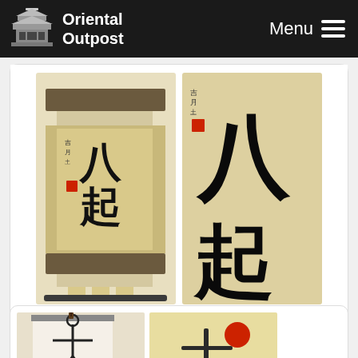Oriental Outpost | Menu
[Figure (photo): Two views of a Japanese calligraphy wall scroll showing characters for 'Fall Down Seven Times, Get Up Eight' - one showing the full mounted scroll and one showing a close-up of the calligraphy]
Fall Down Seven Times, Get Up Eight Japanese Philosophy Wall Scroll
Gallery Price: $214.00
Your Price: $118.88
More Info
[Figure (photo): Two Japanese art pieces - one showing a mounted scroll with brushstroke figures and one showing a circular design with a red sun and dark figure on beige background]